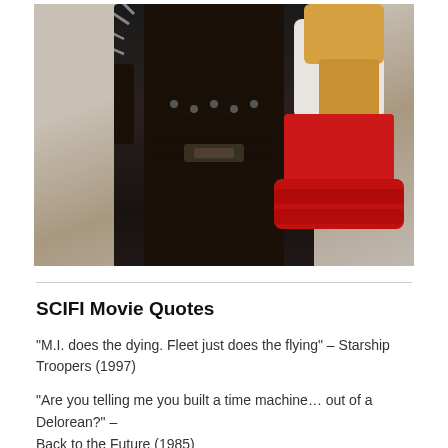[Figure (photo): Photo of Edward Scissorhands character in black leather outfit with scissor-blade hands, being embraced by a woman in a white top and red ruffled skirt, against a light grey background.]
SCIFI Movie Quotes
“M.I. does the dying. Fleet just does the flying” – Starship Troopers (1997)
“Are you telling me you built a time machine… out of a Delorean?” – Back to the Future (1985)